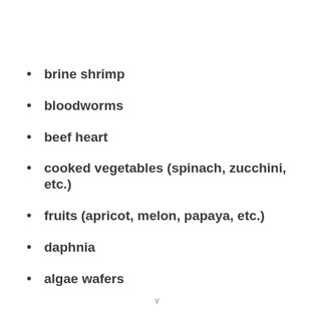brine shrimp
bloodworms
beef heart
cooked vegetables (spinach, zucchini, etc.)
fruits (apricot, melon, papaya, etc.)
daphnia
algae wafers
v